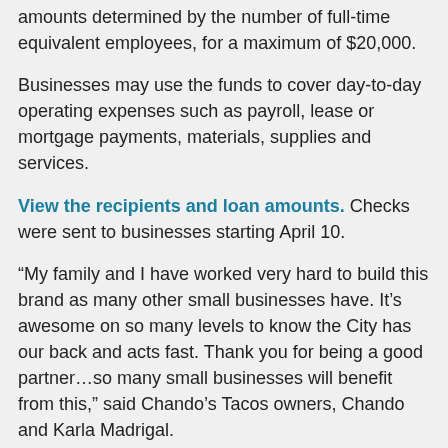amounts determined by the number of full-time equivalent employees, for a maximum of $20,000.
Businesses may use the funds to cover day-to-day operating expenses such as payroll, lease or mortgage payments, materials, supplies and services.
View the recipients and loan amounts. Checks were sent to businesses starting April 10.
“My family and I have worked very hard to build this brand as many other small businesses have. It’s awesome on so many levels to know the City has our back and acts fast. Thank you for being a good partner…so many small businesses will benefit from this,” said Chando’s Tacos owners, Chando and Karla Madrigal.
Loans for the Roseville Small Business Stabilization Program come from the Citizens' Benefit Fund, which was established in 1993 following the sale of the city-owned Roseville Hospital. The proceeds were placed in a trust